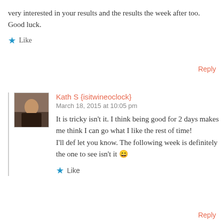very interested in your results and the results the week after too. Good luck.
Like
Reply
Kath S {isitwineoclock}
March 18, 2015 at 10:05 pm
It is tricky isn't it. I think being good for 2 days makes me think I can go what I like the rest of time!
I'll def let you know. The following week is definitely the one to see isn't it 😄
Like
Reply